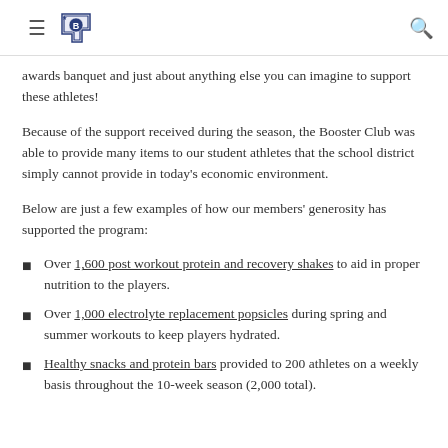Navigation header with hamburger menu, school logo (Bulldogs mascot), and search icon
awards banquet and just about anything else you can imagine to support these athletes!
Because of the support received during the season, the Booster Club was able to provide many items to our student athletes that the school district simply cannot provide in today's economic environment.
Below are just a few examples of how our members' generosity has supported the program:
Over 1,600 post workout protein and recovery shakes to aid in proper nutrition to the players.
Over 1,000 electrolyte replacement popsicles during spring and summer workouts to keep players hydrated.
Healthy snacks and protein bars provided to 200 athletes on a weekly basis throughout the 10-week season (2,000 total).